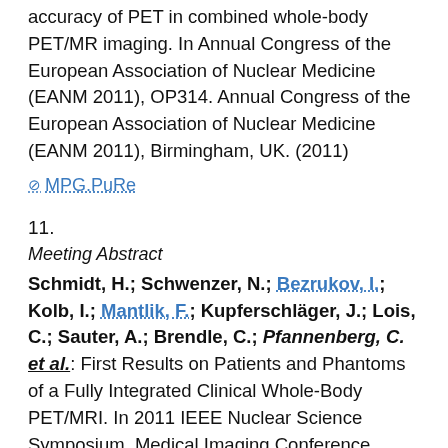accuracy of PET in combined whole-body PET/MR imaging. In Annual Congress of the European Association of Nuclear Medicine (EANM 2011), OP314. Annual Congress of the European Association of Nuclear Medicine (EANM 2011), Birmingham, UK. (2011)
⊘ MPG.PuRe
11.
Meeting Abstract
Schmidt, H.; Schwenzer, N.; Bezrukov, I.; Kolb, I.; Mantlik, F.; Kupferschläger, J.; Lois, C.; Sauter, A.; Brendle, C.; Pfannenberg, C. et al.: First Results on Patients and Phantoms of a Fully Integrated Clinical Whole-Body PET/MRI. In 2011 IEEE Nuclear Science Symposium, Medical Imaging Conference (NSS-MIC 2011), J2-8. 2011 IEEE Nuclear Science Symposium, Medical Imaging Conference (NSS-MIC 2011), Valencia, Spain, 23. Oktober